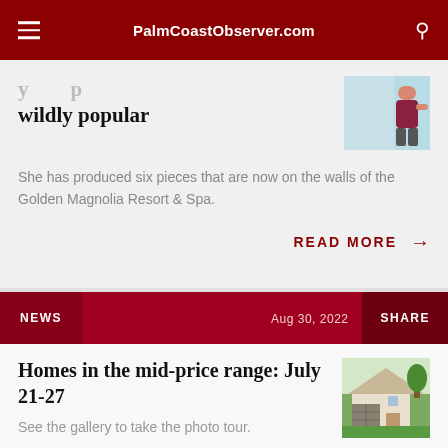PalmCoastObserver.com
wildly popular
She has produced six pieces that are now on the walls of the Golden Magnolia Resort & Spa.
READ MORE →
NEWS   Aug 30, 2022   SHARE
Homes in the mid-price range: July 21-27
See the gallery to take the photo tour.